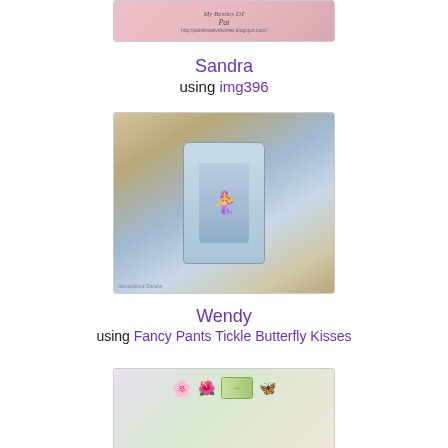[Figure (photo): Top portion of a craft/scrapbook image showing 'My Besties DT Pat' with blog URL, partially cropped at top of page]
Sandra
using img396
[Figure (photo): Handmade craft card by Sandra featuring a mermaid girl character (img396) in blue sailor hat with anchor, roses, and nautical elements on vintage paper background]
Wendy
using Fancy Pants Tickle Butterfly Kisses
[Figure (photo): Handmade craft card by Wendy using Fancy Pants Tickle Butterfly Kisses, showing decorative card with flowers and butterfly, partially cropped at bottom]